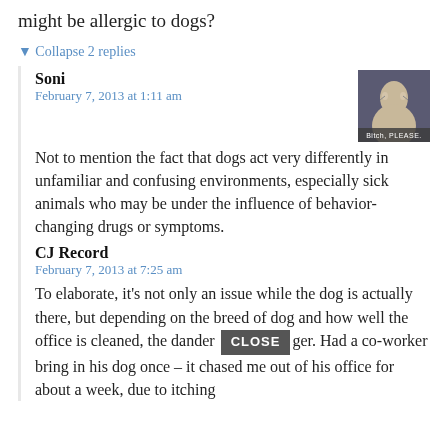might be allergic to dogs?
▼ Collapse 2 replies
Soni
February 7, 2013 at 1:11 am
Not to mention the fact that dogs act very differently in unfamiliar and confusing environments, especially sick animals who may be under the influence of behavior-changing drugs or symptoms.
CJ Record
February 7, 2013 at 7:25 am
To elaborate, it's not only an issue while the dog is actually there, but depending on the breed of dog and how well the office is cleaned, the dander can linger. Had a co-worker bring in his dog once – it chased me out of his office for about a week, due to itching